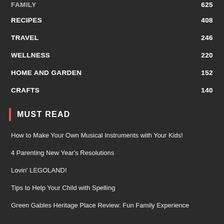FAMILY 625
RECIPES 408
TRAVEL 246
WELLNESS 220
HOME AND GARDEN 152
CRAFTS 140
MUST READ
How to Make Your Own Musical Instruments with Your Kids!
4 Parenting New Year's Resolutions
Lovin' LEGOLAND!
Tips to Help Your Child with Spelling
Green Gables Heritage Place Review: Fun Family Experience